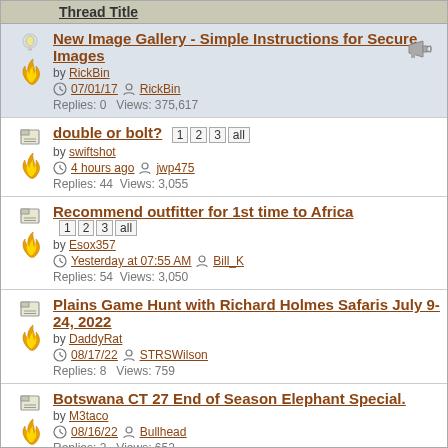Thread Title
New Image Gallery - Simple Instructions for Secure Images by RickBin | 07/01/17 | RickBin | Replies: 0 Views: 375,617
double or bolt? [1 2 3 all] by swiftshot | 4 hours ago | jwp475 | Replies: 44 Views: 3,055
Recommend outfitter for 1st time to Africa [1 2 3 all] by Esox357 | Yesterday at 07:55 AM | Bill_K | Replies: 54 Views: 3,050
Plains Game Hunt with Richard Holmes Safaris July 9-24, 2022 by DaddyRat | 08/17/22 | STRSWilson | Replies: 8 Views: 759
Botswana CT 27 End of Season Elephant Special. by M3taco | 08/16/22 | Bullhead | Replies: 2 Views: 652